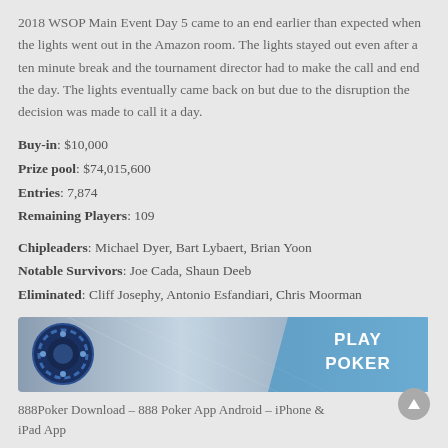2018 WSOP Main Event Day 5 came to an end earlier than expected when the lights went out in the Amazon room. The lights stayed out even after a ten minute break and the tournament director had to make the call and end the day. The lights eventually came back on but due to the disruption the decision was made to call it a day.
Buy-in: $10,000
Prize pool: $74,015,600
Entries: 7,874
Remaining Players: 109
Chipleaders: Michael Dyer, Bart Lybaert, Brian Yoon
Notable Survivors: Joe Cada, Shaun Deeb
Eliminated: Cliff Josephy, Antonio Esfandiari, Chris Moorman
[Figure (infographic): 888Poker banner advertisement with poker chips on the left and 'PLAY POKER' text on the right over a blue metallic background]
888Poker Download – 888 Poker App Android – iPhone & iPad App